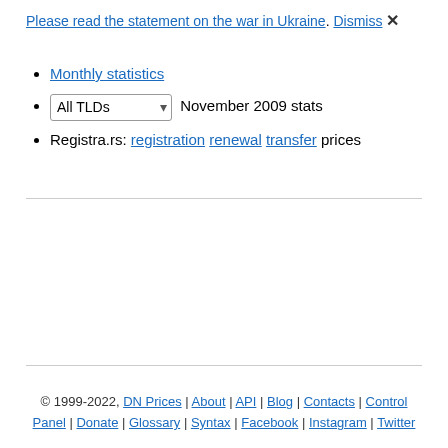Please read the statement on the war in Ukraine. Dismiss ✕
Monthly statistics
All TLDs [dropdown] November 2009 stats
Registra.rs: registration renewal transfer prices
© 1999-2022, DN Prices | About | API | Blog | Contacts | Control Panel | Donate | Glossary | Syntax | Facebook | Instagram | Twitter